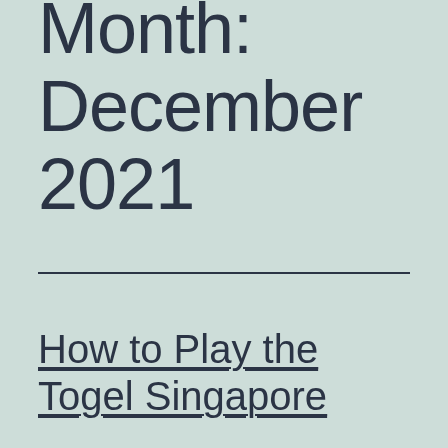Month: December 2021
How to Play the Togel Singapore